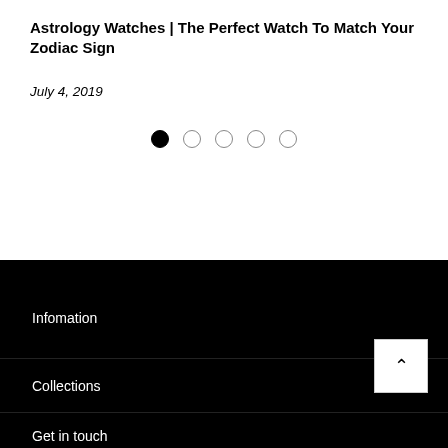Astrology Watches | The Perfect Watch To Match Your Zodiac Sign
July 4, 2019
[Figure (other): Carousel pagination dots: one filled black dot followed by four empty circle dots]
Infomation
Collections
Get in touch